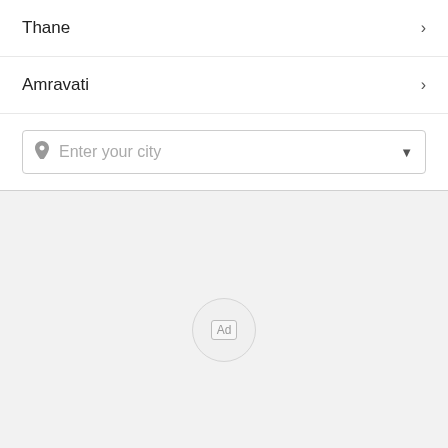Thane
Amravati
Enter your city
[Figure (screenshot): Ad badge circle in gray area]